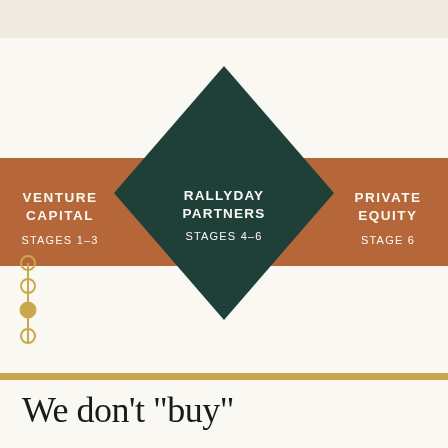[Figure (infographic): Positioning diagram showing a dark green diamond shape overlaid on a rust/orange horizontal band. The diamond is centered and labeled 'RALLYDAY PARTNERS / STAGES 4–6'. The left orange section is labeled 'VENTURE CAPITAL / STAGES 1–3'. The right orange section is labeled 'PRIVATE EQUITY / STAGE 6'. A gold vertical timeline with open and filled circles appears on the left edge. A gold horizontal stripe runs below the diagram.]
We don't "buy"